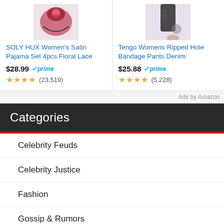[Figure (photo): Product image of SOLY HUX Women's Satin Pajama Set 4pcs Floral Lace - partially visible at top]
SOLY HUX Women's Satin Pajama Set 4pcs Floral Lace
$28.99 prime ★★★★ (23,519)
[Figure (photo): Product image of Tengo Womens Ripped Hole Bandage Pants Denim - partially visible at top]
Tengo Womens Ripped Hole Bandage Pants Denim
$25.88 prime ★★★★ (5,228)
Ads by Amazon
Categories
Celebrity Feuds
Celebrity Justice
Fashion
Gossip & Rumors
Movies